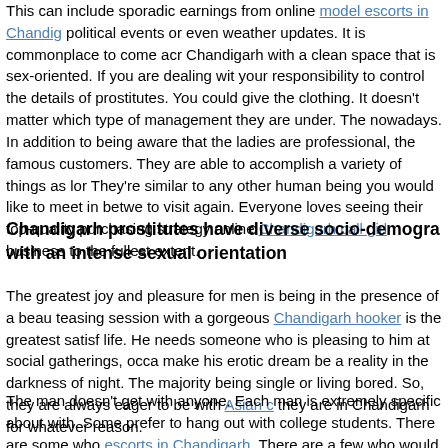This can include sporadic earnings from online model escorts in Chandigarh political events or even weather updates. It is commonplace to come across Chandigarh with a clean space that is sex-oriented. If you are dealing with your responsibility to control the details of prostitutes. You could give them clothing. It doesn't matter which type of management they are under. The nowadays. In addition to being aware that the ladies are professional, the famous customers. They are able to accomplish a variety of things as long They're similar to any other human being you would like to meet in between to visit again. Everyone loves seeing their top-quality purchasing strategy online Chandigarh call girl business to the fullest extent.
Chandigarh prostitutes have diverse socio-demographic with an intense sexual orientation
The greatest joy and pleasure for men is being in the presence of a beautiful teasing session with a gorgeous Chandigarh hooker is the greatest satisfaction life. He needs someone who is pleasing to him at social gatherings, occasionally make his erotic dream be a reality in the darkness of night. The majority of being single or living bored. So, they are always eager to be with Asian call they are in Chandigarh for whatever reason.
The man doesn't get with anyone. Each man is extremely specific about with. Some prefer to hang out with college students. There are some who escorts in Chandigarh. There are a few who would prefer an unmarried housewife as a partner in sexual relations. To cater to the diverse tastes of males, girls Chandigarh to get involved with different socio-demographic and social